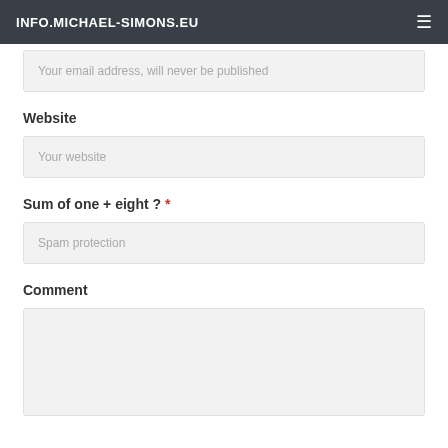INFO.MICHAEL-SIMONS.EU
Your email address, will never be published
Website
Your website
Sum of one + eight ? *
Spam protection
Comment